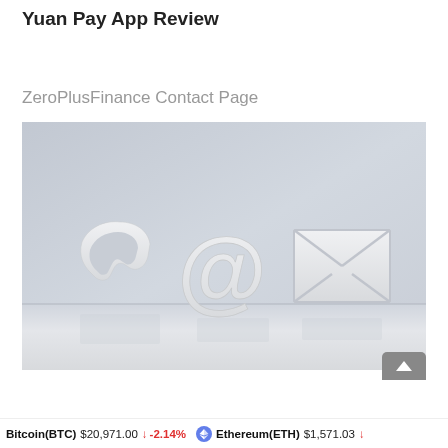Yuan Pay App Review
ZeroPlusFinance Contact Page
[Figure (photo): Photo of three white 3D contact symbols — a telephone handset, an at-sign (@), and an envelope — leaning against a gray wall on a white surface.]
Bitcoin(BTC) $20,971.00 ↓ -2.14%   Ethereum(ETH) $1,571.03 ↓